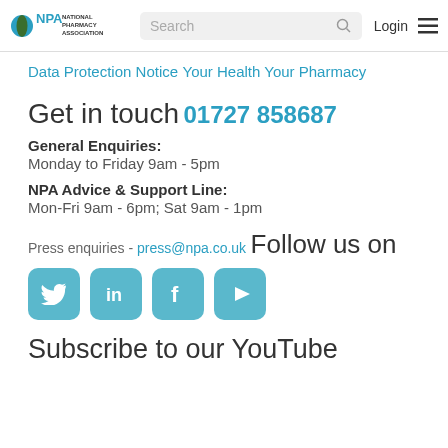NPA National Pharmacy Association | Search | Login
Data Protection Notice
Your Health Your Pharmacy
Get in touch
01727 858687
General Enquiries:
Monday to Friday 9am - 5pm
NPA Advice & Support Line:
Mon-Fri 9am - 6pm; Sat 9am - 1pm
Press enquiries - press@npa.co.uk
Follow us on
[Figure (infographic): Four social media icon buttons: Twitter, LinkedIn, Facebook, YouTube]
Subscribe to our YouTube